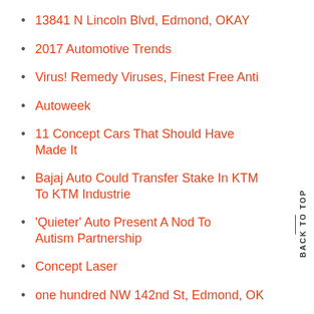13841 N Lincoln Blvd, Edmond, OKAY
2017 Automotive Trends
Virus! Remedy Viruses, Finest Free Anti
Autoweek
11 Concept Cars That Should Have Made It
Bajaj Auto Could Transfer Stake In KTM To KTM Industrie
'Quieter' Auto Present A Nod To Autism Partnership
Concept Laser
one hundred NW 142nd St, Edmond, OK